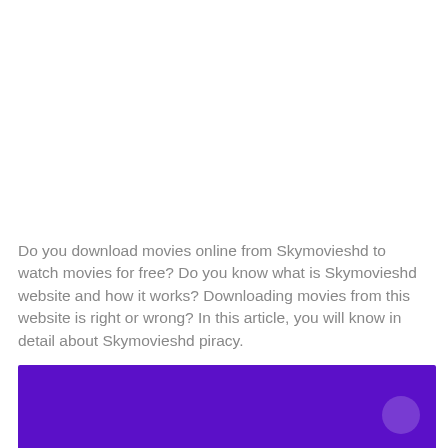Do you download movies online from Skymovieshd to watch movies for free? Do you know what is Skymovieshd website and how it works? Downloading movies from this website is right or wrong? In this article, you will know in detail about Skymovieshd piracy.
[Figure (other): A purple/violet colored rectangular block, representing a video or image thumbnail with a circular element in the bottom-right corner.]